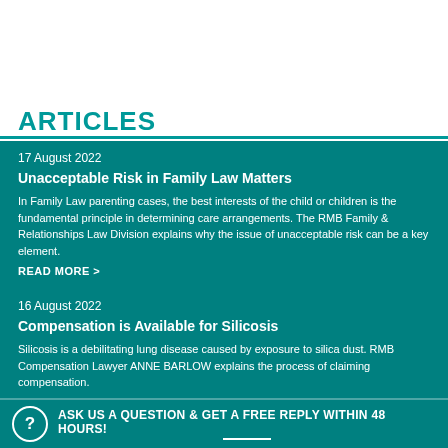ARTICLES
17 August 2022
Unacceptable Risk in Family Law Matters
In Family Law parenting cases, the best interests of the child or children is the fundamental principle in determining care arrangements. The RMB Family & Relationships Law Division explains why the issue of unacceptable risk can be a key element.
READ MORE  >
16 August 2022
Compensation is Available for Silicosis
Silicosis is a debilitating lung disease caused by exposure to silica dust. RMB Compensation Lawyer ANNE BARLOW explains the process of claiming compensation.
READ MORE  >
20 July 2022
ASK US A QUESTION & GET A FREE REPLY WITHIN 48 HOURS!